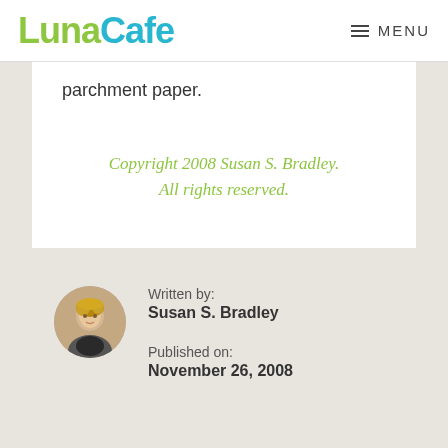LunaCafe  MENU
parchment paper.
Copyright 2008 Susan S. Bradley. All rights reserved.
Written by: Susan S. Bradley
Published on: November 26, 2008